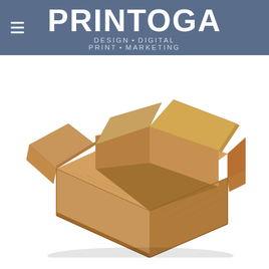PRINTOGA — DESIGN • DIGITAL PRINT • MARKETING
[Figure (photo): An open brown corrugated cardboard shipping box viewed from a slight angle above, showing the four open flaps folded outward, with the box interior visible. The box is on a white background.]